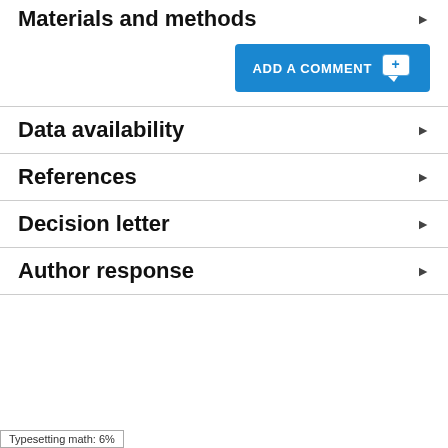Materials and methods
[Figure (other): ADD A COMMENT button with blue background and chat icon with plus sign]
Data availability
References
Decision letter
Author response
Typesetting math: 6%